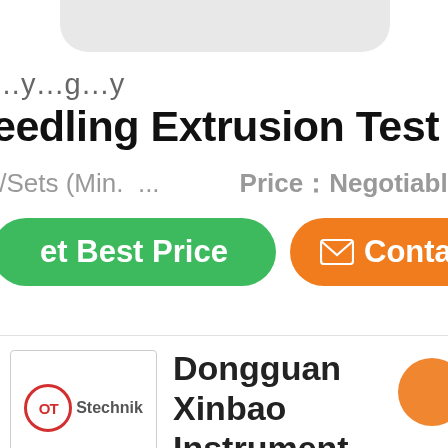…y…g…y
needling Extrusion Test Equipment
t/Sets (Min. ...   Price：Negotiable
Get Best Price   Contact
[Figure (logo): OTStechnik logo in a bordered box]
Dongguan Xinbao Instrument...